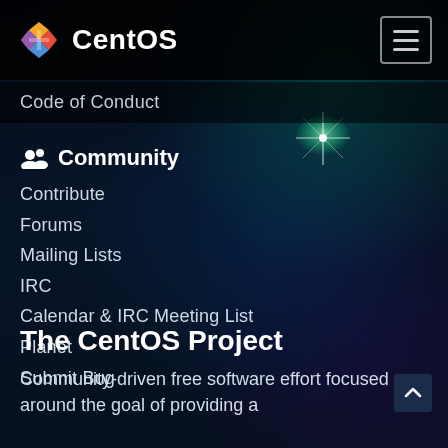CentOS
Code of Conduct
Community
Contribute
Forums
Mailing Lists
IRC
Calendar & IRC Meeting List
Planet
Submit Bug
The CentOS Project
Community-driven free software effort focused around the goal of providing a